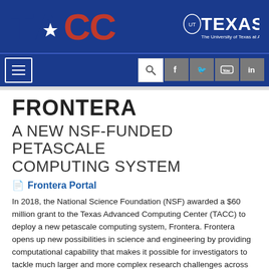[Figure (logo): TACC logo with star and Texas flag-colored letters on dark blue header background, alongside University of Texas at Austin Texas logo]
[Figure (screenshot): Navigation bar with hamburger menu, search icon, Facebook, Twitter, YouTube, and LinkedIn icons on dark blue background]
FRONTERA
A NEW NSF-FUNDED PETASCALE COMPUTING SYSTEM
Frontera Portal
In 2018, the National Science Foundation (NSF) awarded a $60 million grant to the Texas Advanced Computing Center (TACC) to deploy a new petascale computing system, Frontera. Frontera opens up new possibilities in science and engineering by providing computational capability that makes it possible for investigators to tackle much larger and more complex research challenges across